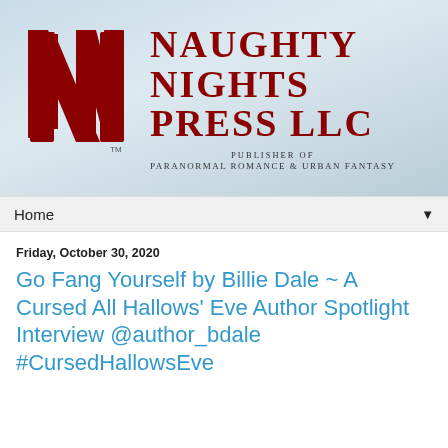[Figure (logo): Naughty Nights Press LLC logo with red stylized double-N mark and text: NAUGHTY NIGHTS PRESS LLC, Publisher of Paranormal Romance & Urban Fantasy]
Home ▼
Friday, October 30, 2020
Go Fang Yourself by Billie Dale ~ A Cursed All Hallows' Eve Author Spotlight Interview @author_bdale #CursedHallowsEve